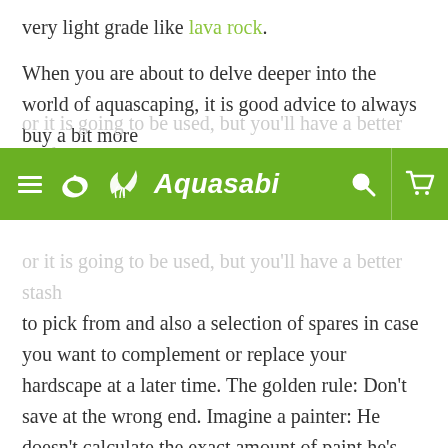very light grade like lava rock.
When you are about to delve deeper into the world of aquascaping, it is good advice to always buy a bit more
[Figure (screenshot): Aquasabi website navigation bar with green background, hamburger menu icon, leaf logo with 'Aquasabi' text, search icon and cart icon]
or it is going to be used, but you'll have a better stash to pick from and also a selection of spares in case you want to complement or replace your hardscape at a later time. The golden rule: Don't save at the wrong end. Imagine a painter: He doesn't calculate the exact amount of paint he's going to need for just THAT one painting he's about to work on, but instead has a vast supply of various paints at hand so he can spread his wings and draw upon a full scope of artistic aptitude and possibilities. An aquascaper should look at his